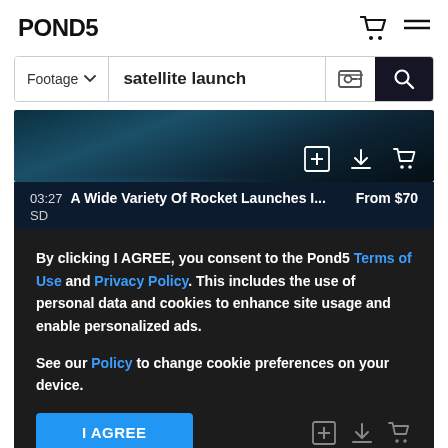POND5
Footage ∨   satellite launch
[Figure (screenshot): Space/satellite image strip with action icons (add, download, cart) in white on dark background]
03:27   A Wide Variety Of Rocket Launches I...   From $70
SD
By clicking I AGREE, you consent to the Pond5 Terms of Use and Privacy Policy. This includes the use of personal data and cookies to enhance site usage and enable personalized ads. See our Policy to change cookie preferences on your device.
I AGREE